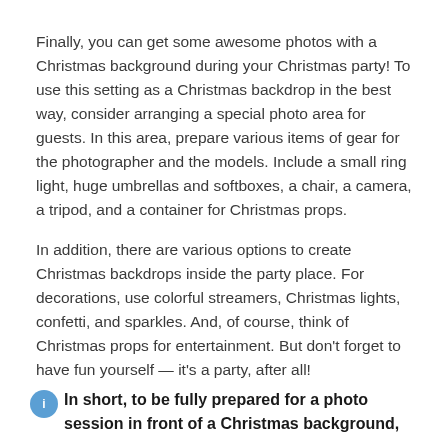Finally, you can get some awesome photos with a Christmas background during your Christmas party! To use this setting as a Christmas backdrop in the best way, consider arranging a special photo area for guests. In this area, prepare various items of gear for the photographer and the models. Include a small ring light, huge umbrellas and softboxes, a chair, a camera, a tripod, and a container for Christmas props.
In addition, there are various options to create Christmas backdrops inside the party place. For decorations, use colorful streamers, Christmas lights, confetti, and sparkles. And, of course, think of Christmas props for entertainment. But don't forget to have fun yourself — it's a party, after all!
In short, to be fully prepared for a photo session in front of a Christmas background,